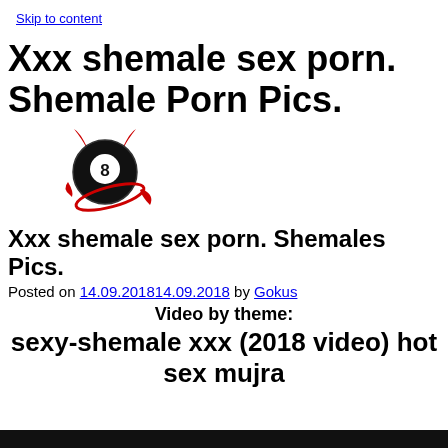Skip to content
Xxx shemale sex porn. Shemale Porn Pics.
[Figure (logo): Magic 8-ball logo with devil horns and swirling tail, in black and red]
Xxx shemale sex porn. Shemales Pics.
Posted on 14.09.201814.09.2018 by Gokus
Video by theme:
sexy-shemale xxx (2018 video) hot sex mujra